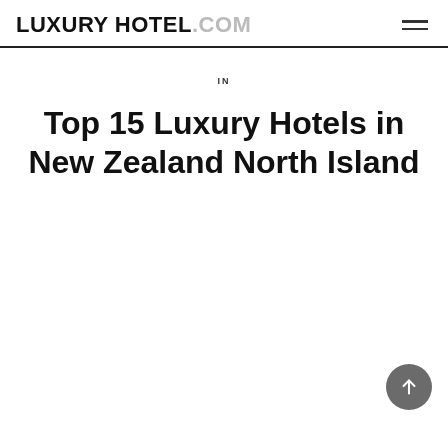LUXURY HOTEL.COM
IN
Top 15 Luxury Hotels in New Zealand North Island